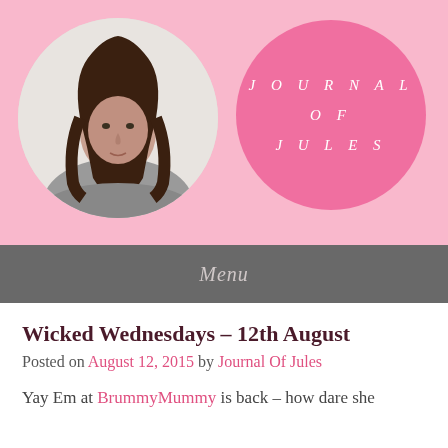[Figure (photo): Blog header banner with pink background. Left side: circular portrait photo of a woman with long dark brown hair wearing a grey top. Right side: a pink circle with white spaced italic text reading JOURNAL OF JULES.]
Menu
Wicked Wednesdays – 12th August
Posted on August 12, 2015 by Journal Of Jules
Yay Em at BrummyMummy is back – how dare she